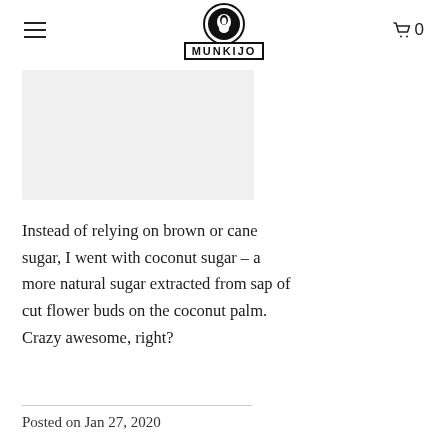MUNKIJO
[Figure (photo): Light gray rectangular image placeholder]
Instead of relying on brown or cane sugar, I went with coconut sugar – a more natural sugar extracted from sap of cut flower buds on the coconut palm. Crazy awesome, right?
Posted on Jan 27, 2020